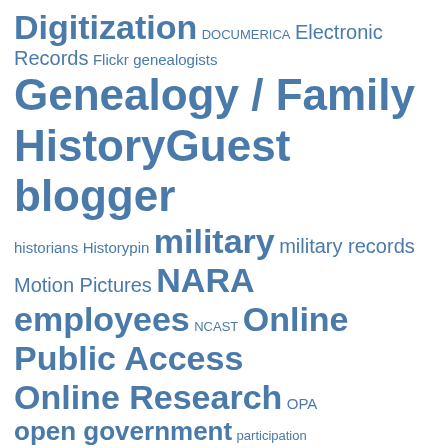[Figure (infographic): Tag cloud with terms related to NARA (National Archives) topics, rendered in varying font sizes and weights in blue color. Terms include: Digitization, DOCUMERICA, Electronic Records, Flickr, genealogists, Genealogy / Family History, Guest blogger, historians, Historypin, military, military records, Motion Pictures, NARA employees, NCAST, Online Public Access, Online Research, OPA, open government, participation, Photographs, preservation, Presidential Libraries, Records Management, Research, researchers, social media, tagging, technology, transcription]